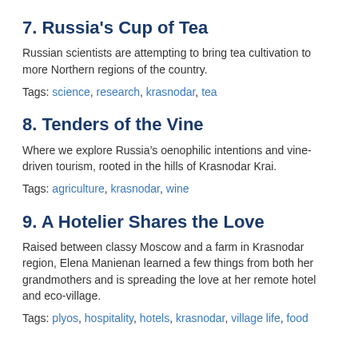7. Russia's Cup of Tea
Russian scientists are attempting to bring tea cultivation to more Northern regions of the country.
Tags: science, research, krasnodar, tea
8. Tenders of the Vine
Where we explore Russia’s oenophilic intentions and vine-driven tourism, rooted in the hills of Krasnodar Krai.
Tags: agriculture, krasnodar, wine
9. A Hotelier Shares the Love
Raised between classy Moscow and a farm in Krasnodar region, Elena Manienan learned a few things from both her grandmothers and is spreading the love at her remote hotel and eco-village.
Tags: plyos, hospitality, hotels, krasnodar, village life, food